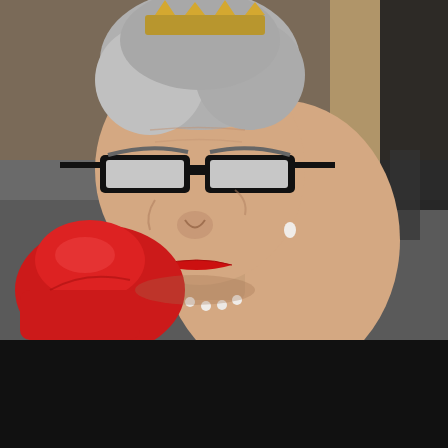[Figure (photo): An elderly woman with grey hair in a bun wearing a gold crown/tiara, black thick-rimmed glasses, red lipstick, pearl necklace, holding a red boxing glove up near her face. She has an angry/determined expression. Background shows blurred figures on a street.]
Read On
BEST PHOTOS FROM #HEADONINTERACTIONAL